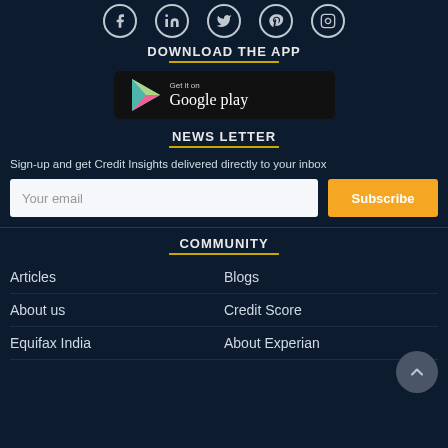[Figure (other): Row of social media icon circles: Facebook, LinkedIn, Twitter, Pinterest, Instagram]
DOWNLOAD THE APP
[Figure (logo): Google Play Store download badge with play triangle icon]
NEWS LETTER
Sign-up and get Credit Insights delivered directly to your inbox
Your email [input field] Subscribe [button]
COMMUNITY
Articles
Blogs
About us
Credit Score
Equifax India
About Experian